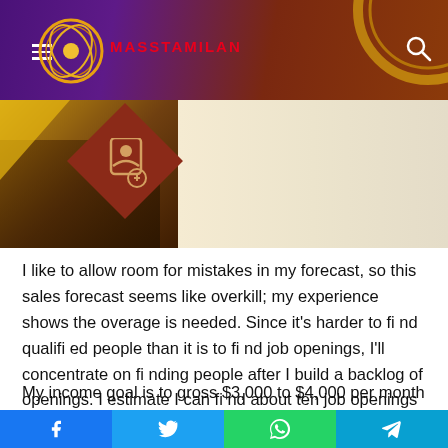MASSTAMILAN
[Figure (screenshot): Website header with MassTamilan logo (circular logo with orange circle, red text MASSTAMILAN), purple-to-brown gradient background, hamburger menu icon on left, search icon on right]
[Figure (illustration): Banner image with dark brown/gold gradient on left showing hands, a dark red diamond shape with person-search icon in center, light cream background on right]
I like to allow room for mistakes in my forecast, so this sales forecast seems like overkill; my experience shows the overage is needed. Since it's harder to find qualified people than it is to find job openings, I'll concentrate on finding people after I build a backlog of openings. I estimate I can find about ten job openings per week. I will allow myself two weeks to find 20 job openings. After the first 20, I'll get plenty of openings by referrals and repeats
My income goal is to gross $3,000 to $4,000 per month, and I
Facebook  Twitter  WhatsApp  Telegram